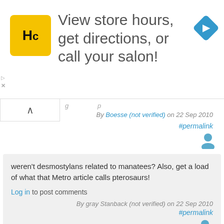[Figure (other): Advertisement banner: HC logo (yellow square with HC text), text 'View store hours, get directions, or call your salon!', blue diamond navigation icon]
By Boesse (not verified) on 22 Sep 2010 #permalink
weren't desmostylans related to manatees? Also, get a load of what that Metro article calls pterosaurs!
Log in to post comments
By gray Stanback (not verified) on 22 Sep 2010 #permalink